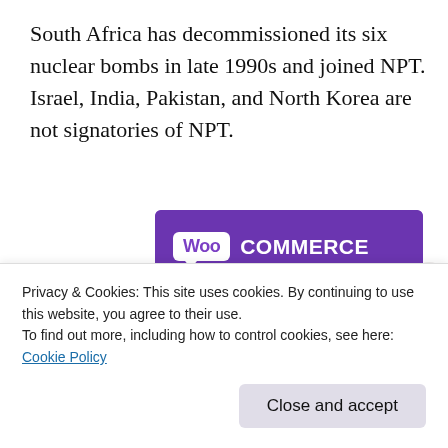South Africa has decommissioned its six nuclear bombs in late 1990s and joined NPT. Israel, India, Pakistan, and North Korea are not signatories of NPT.
[Figure (screenshot): WooCommerce advertisement banner showing 'The most customizable eCommerce platform' with purple background, WooCommerce logo, shopping cart icon, and a 'Start a new store' button.]
Privacy & Cookies: This site uses cookies. By continuing to use this website, you agree to their use.
To find out more, including how to control cookies, see here: Cookie Policy
Close and accept